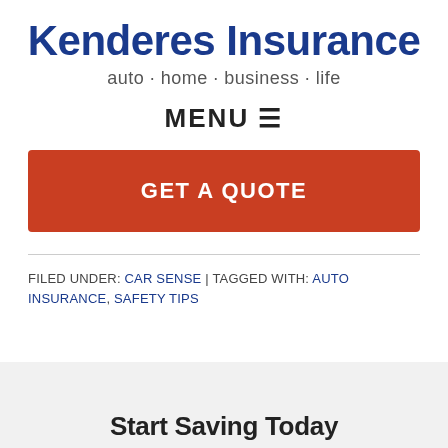Kenderes Insurance
auto · home · business · life
MENU ≡
GET A QUOTE
FILED UNDER: CAR SENSE | TAGGED WITH: AUTO INSURANCE, SAFETY TIPS
Start Saving Today